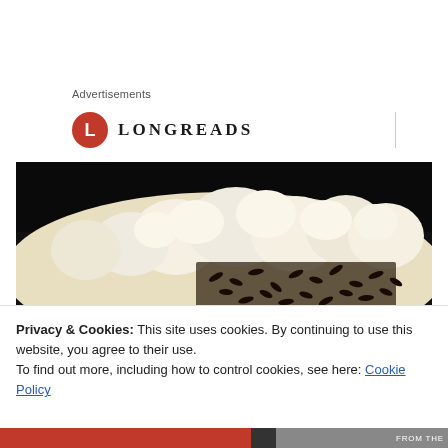Advertisements
[Figure (logo): Longreads logo — red circle with white L, followed by LONGREADS in serif uppercase letters]
[Figure (photo): Close-up photo of a dessert with white whipped cream swirls and dark chocolate sprinkles on a dark background]
Privacy & Cookies: This site uses cookies. By continuing to use this website, you agree to their use.
To find out more, including how to control cookies, see here: Cookie Policy
Close and accept